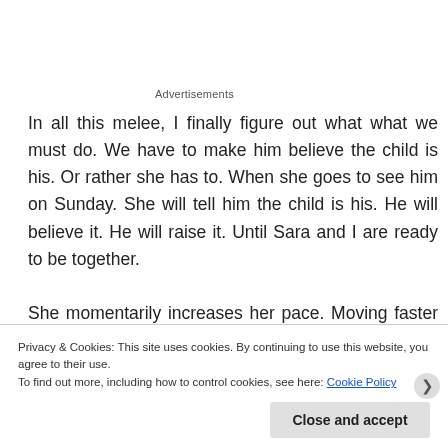Advertisements
In all this melee, I finally figure out what what we must do. We have to make him believe the child is his. Or rather she has to. When she goes to see him on Sunday. She will tell him the child is his. He will believe it. He will raise it. Until Sara and I are ready to be together.
She momentarily increases her pace. Moving faster and faster but ever so gently. This time I do not slip off. The
Privacy & Cookies: This site uses cookies. By continuing to use this website, you agree to their use.
To find out more, including how to control cookies, see here: Cookie Policy
Close and accept